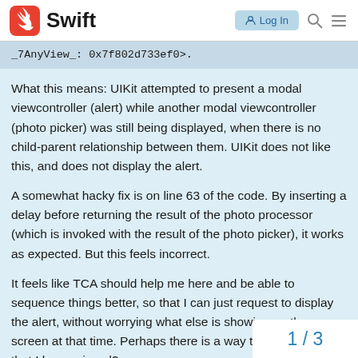Swift — Log In
_7AnyView_: 0x7f802d733ef0>.
What this means: UIKit attempted to present a modal viewcontroller (alert) while another modal viewcontroller (photo picker) was still being displayed, when there is no child-parent relationship between them. UIKit does not like this, and does not display the alert.
A somewhat hacky fix is on line 63 of the code. By inserting a delay before returning the result of the photo processor (which is invoked with the result of the photo picker), it works as expected. But this feels incorrect.
It feels like TCA should help me here and be able to sequence things better, so that I can just request to display the alert, without worrying what else is showing on the screen at that time. Perhaps there is a way to already do this that I have missed?
1 / 3